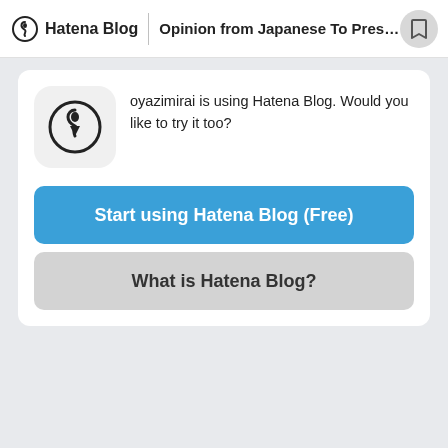Hatena Blog | Opinion from Japanese To Preside...
oyazimirai is using Hatena Blog. Would you like to try it too?
Start using Hatena Blog (Free)
What is Hatena Blog?